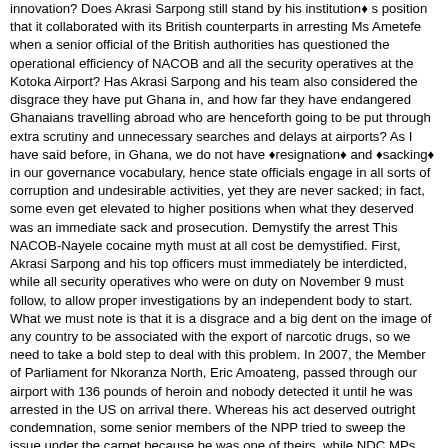innovation? Does Akrasi Sarpong still stand by his institution's position that it collaborated with its British counterparts in arresting Ms Ametefe when a senior official of the British authorities has questioned the operational efficiency of NACOB and all the security operatives at the Kotoka Airport? Has Akrasi Sarpong and his team also considered the disgrace they have put Ghana in, and how far they have endangered Ghanaians travelling abroad who are henceforth going to be put through extra scrutiny and unnecessary searches and delays at airports? As I have said before, in Ghana, we do not have 'resignation' and 'sacking' in our governance vocabulary, hence state officials engage in all sorts of corruption and undesirable activities, yet they are never sacked; in fact, some even get elevated to higher positions when what they deserved was an immediate sack and prosecution. Demystify the arrest This NACOB-Nayele cocaine myth must at all cost be demystified. First, Akrasi Sarpong and his top officers must immediately be interdicted, while all security operatives who were on duty on November 9 must follow, to allow proper investigations by an independent body to start. What we must note is that it is a disgrace and a big dent on the image of any country to be associated with the export of narcotic drugs, so we need to take a bold step to deal with this problem. In 2007, the Member of Parliament for Nkoranza North, Eric Amoateng, passed through our airport with 136 pounds of heroin and nobody detected it until he was arrested in the US on arrival there. Whereas his act deserved outright condemnation, some senior members of the NPP tried to sweep the issue under the carpet because he was one of theirs, while NDC MPs and senior members described the NPP as 'Narcotic People's Party'. This time round, the government has only concerned itself with clearing its image associated with early reports that the suspect travelled on a diplomatic passport and that she is also an acquaintance of the President and his wife. So, is that all government can do? Interestingly, the Communications Minister